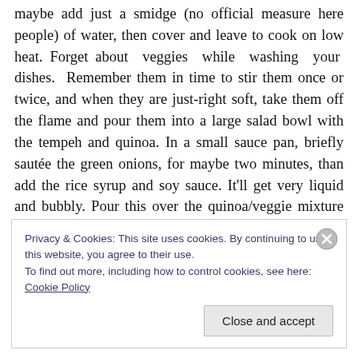maybe add just a smidge (no official measure here people) of water, then cover and leave to cook on low heat. Forget about veggies while washing your dishes. Remember them in time to stir them once or twice, and when they are just-right soft, take them off the flame and pour them into a large salad bowl with the tempeh and quinoa. In a small sauce pan, briefly sautée the green onions, for maybe two minutes, than add the rice syrup and soy sauce. It'll get very liquid and bubbly. Pour this over the quinoa/veggie mixture and be careful to distribute evenly. Toss in the parsley rather than forgetting it in the bowl on the counter
Privacy & Cookies: This site uses cookies. By continuing to use this website, you agree to their use.
To find out more, including how to control cookies, see here: Cookie Policy